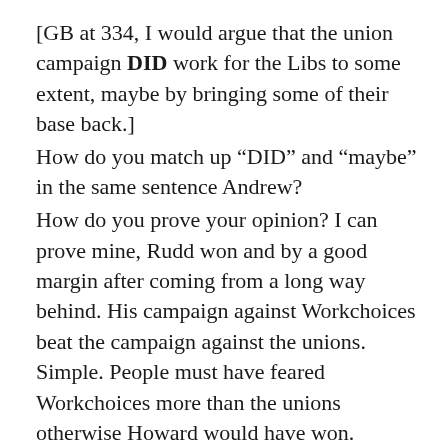[GB at 334, I would argue that the union campaign DID work for the Libs to some extent, maybe by bringing some of their base back.]
How do you match up “DID” and “maybe” in the same sentence Andrew?
How do you prove your opinion? I can prove mine, Rudd won and by a good margin after coming from a long way behind. His campaign against Workchoices beat the campaign against the unions. Simple. People must have feared Workchoices more than the unions otherwise Howard would have won.
You want to argue degrees and I want to argue absolutes.